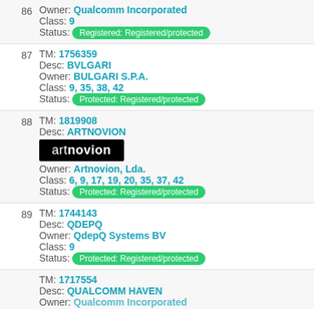86 Owner: Qualcomm Incorporated | Class: 9 | Status: Registered: Registered/protected
87 TM: 1756359 | Desc: BVLGARI | Owner: BULGARI S.P.A. | Class: 9, 35, 38, 42 | Status: Protected: Registered/protected
88 TM: 1819908 | Desc: ARTNOVION | Owner: Artnovion, Lda. | Class: 6, 9, 17, 19, 20, 35, 37, 42 | Status: Protected: Registered/protected
89 TM: 1744143 | Desc: QDEPQ | Owner: QdepQ Systems BV | Class: 9 | Status: Protected: Registered/protected
TM: 1717554 | Desc: QUALCOMM HAVEN | Owner: Qualcomm Incorporated (partial)